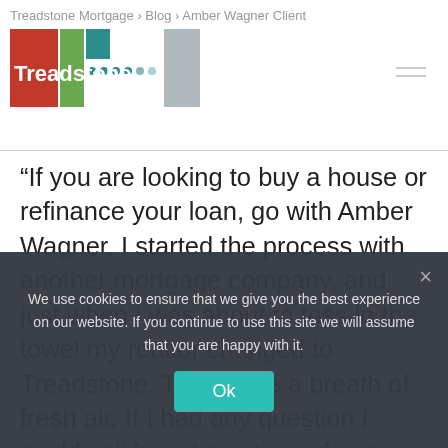Treadstone Mortgage › Blog › Amber Wagner Client
[Figure (logo): Treadstone Mortgage logo with colored tiles (red, green, teal) and white text on dark background]
“If you are looking to buy a house or refinance your loan, go with Amber Wagner. I started the process with another mortgage company, and just when I was about to toss in the towel my realtor changed to Treadstone. They were a breath of fresh air. If I had any question I could call her at any time, day or night, and if she did not get back with me in 5 min,
We use cookies to ensure that we give you the best experience on our website. If you continue to use this site we will assume that you are happy with it.